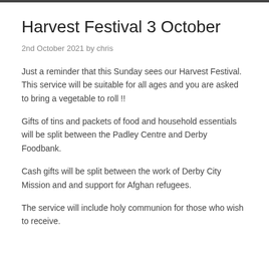Harvest Festival 3 October
2nd October 2021 by chris
Just a reminder that this Sunday sees our Harvest Festival. This service will be suitable for all ages and you are asked to bring a vegetable to roll !!
Gifts of tins and packets of food and household essentials will be split between the Padley Centre and Derby Foodbank.
Cash gifts will be split between the work of Derby City Mission and and support for Afghan refugees.
The service will include holy communion for those who wish to receive.